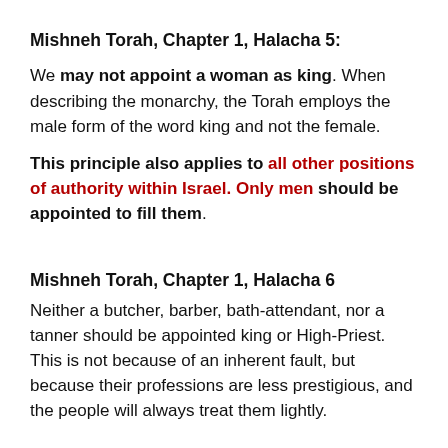Mishneh Torah, Chapter 1, Halacha 5:
We may not appoint a woman as king. When describing the monarchy, the Torah employs the male form of the word king and not the female.
This principle also applies to all other positions of authority within Israel. Only men should be appointed to fill them.
Mishneh Torah, Chapter 1, Halacha 6
Neither a butcher, barber, bath-attendant, nor a tanner should be appointed king or High-Priest. This is not because of an inherent fault, but because their professions are less prestigious, and the people will always treat them lightly.